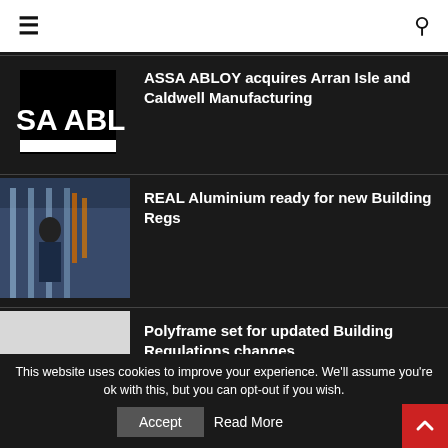Navigation bar with hamburger menu and search icon
[Figure (logo): ASSA ABLOY logo - black background with white text 'SA ABL']
ASSA ABLOY acquires Arran Isle and Caldwell Manufacturing
[Figure (photo): Worker in blue overalls working with aluminium frames in a factory setting]
REAL Aluminium ready for new Building Regs
[Figure (photo): Light grey/white placeholder image for Polyframe article]
Polyframe set for updated Building Regulations changes
This website uses cookies to improve your experience. We'll assume you're ok with this, but you can opt-out if you wish
Accept   Read More